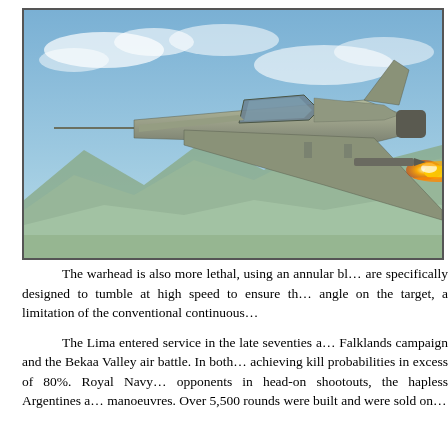[Figure (photo): A fighter jet aircraft (appears to be an F-22 or similar stealth fighter) photographed in flight firing a missile with visible flame/exhaust. The aircraft is shown in profile against a blue sky with mountains visible in the background below.]
The warhead is also more lethal, using an annular blast fragmentation warhead. The fragments are specifically designed to tumble at high speed to ensure they do not pass through the target at a narrow angle on the target, a limitation of the conventional continuous rod warhead.
The Lima entered service in the late seventies and saw combat during the Falklands campaign and the Bekaa Valley air battle. In both conflicts, the missile performed well, achieving kill probabilities in excess of 80%. Royal Navy Harriers used the Lima to destroy opponents in head-on shootouts, the hapless Argentines attempting snap shots and evasive manoeuvres. Over 5,500 rounds were built and were sold on the export market.